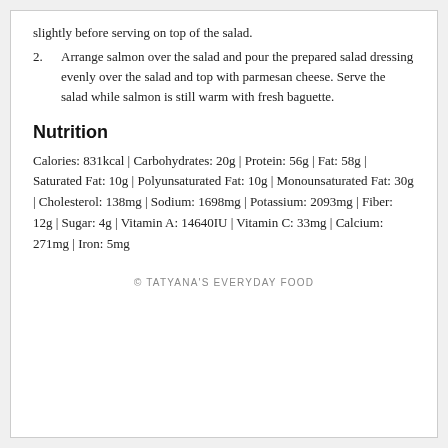slightly before serving on top of the salad.
2. Arrange salmon over the salad and pour the prepared salad dressing evenly over the salad and top with parmesan cheese. Serve the salad while salmon is still warm with fresh baguette.
Nutrition
Calories: 831kcal | Carbohydrates: 20g | Protein: 56g | Fat: 58g | Saturated Fat: 10g | Polyunsaturated Fat: 10g | Monounsaturated Fat: 30g | Cholesterol: 138mg | Sodium: 1698mg | Potassium: 2093mg | Fiber: 12g | Sugar: 4g | Vitamin A: 14640IU | Vitamin C: 33mg | Calcium: 271mg | Iron: 5mg
© TATYANA'S EVERYDAY FOOD